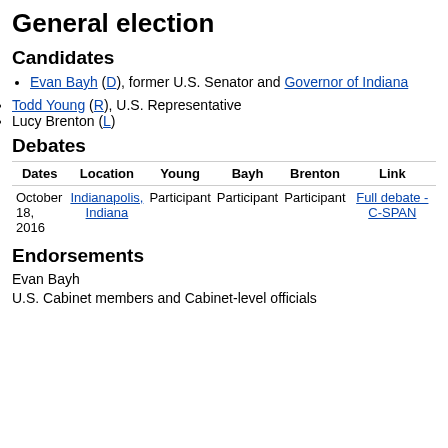General election
Candidates
Evan Bayh (D), former U.S. Senator and Governor of Indiana
Todd Young (R), U.S. Representative
Lucy Brenton (L)
Debates
| Dates | Location | Young | Bayh | Brenton | Link |
| --- | --- | --- | --- | --- | --- |
| October 18, 2016 | Indianapolis, Indiana | Participant | Participant | Participant | Full debate - C-SPAN |
Endorsements
Evan Bayh
U.S. Cabinet members and Cabinet-level officials